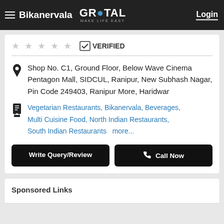Bikanervala | GROTAL MAKE LIFE EASY | Login
★★★★★ ✓ VERIFIED
Shop No. C1, Ground Floor, Below Wave Cinema Pentagon Mall, SIDCUL, Ranipur, New Subhash Nagar, Pin Code 249403, Ranipur More, Haridwar
Vegetarian Restaurants, Bikanervala, Beverages, Multi Cuisine Food, North Indian Restaurants, South Indian Restaurants more...
Write Query/Review
Call Now
Sponsored Links